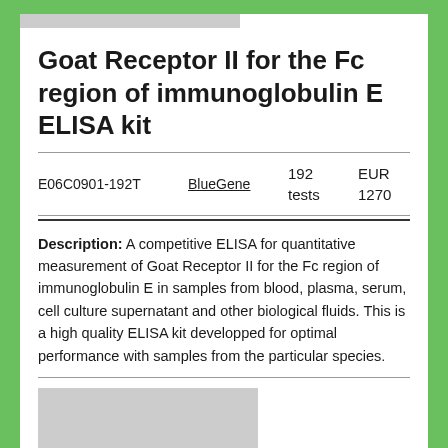Goat Receptor II for the Fc region of immunoglobulin E ELISA kit
| ID | Supplier | Quantity | Price |
| --- | --- | --- | --- |
| E06C0901-192T | BlueGene | 192 tests | EUR 1270 |
Description: A competitive ELISA for quantitative measurement of Goat Receptor II for the Fc region of immunoglobulin E in samples from blood, plasma, serum, cell culture supernatant and other biological fluids. This is a high quality ELISA kit developped for optimal performance with samples from the particular species.
[Figure (other): Gray placeholder image with small text overlay related to the product]